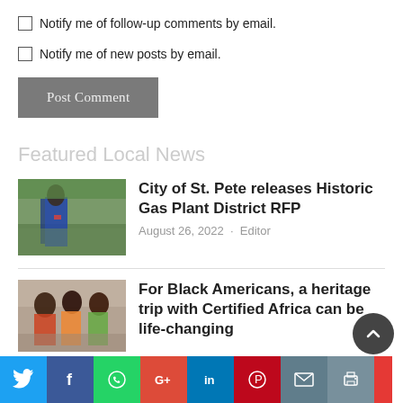Notify me of follow-up comments by email.
Notify me of new posts by email.
Post Comment
Featured Local News
[Figure (photo): Man speaking at a podium outdoors with trees in background]
City of St. Pete releases Historic Gas Plant District RFP
August 26, 2022 · Editor
[Figure (photo): Group of people in colorful traditional African attire]
For Black Americans, a heritage trip with Certified Africa can be life-changing